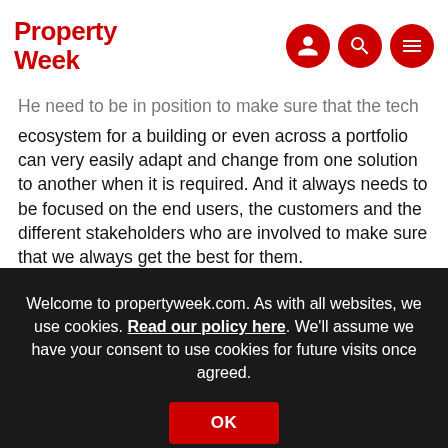Property Week
He need to be in position to make sure that the tech ecosystem for a building or even across a portfolio can very easily adapt and change from one solution to another when it is required. And it always needs to be focused on the end users, the customers and the different stakeholders who are involved to make sure that we always get the best for them.
Speariett: I have a question for Sylvain, Carly and Martin. What ha... [partially obscured by cookie banner]
[Figure (screenshot): Cookie consent popup overlay: 'Welcome to propertyweek.com. As with all websites, we use cookies. Read our policy here. We'll assume we have your consent to use cookies for future visits once agreed.' with an OK button.]
N... [partially obscured] in ou... [partially obscured] of the of the technology itself – it's about how you design the